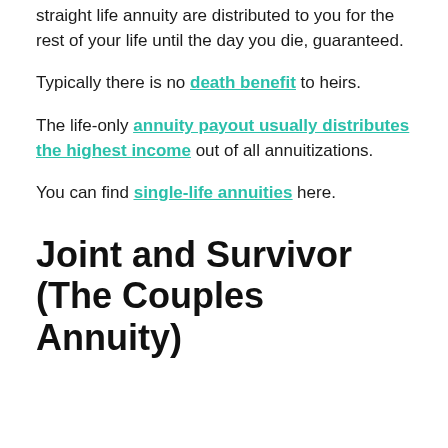straight life annuity are distributed to you for the rest of your life until the day you die, guaranteed.
Typically there is no death benefit to heirs.
The life-only annuity payout usually distributes the highest income out of all annuitizations.
You can find single-life annuities here.
Joint and Survivor (The Couples Annuity)